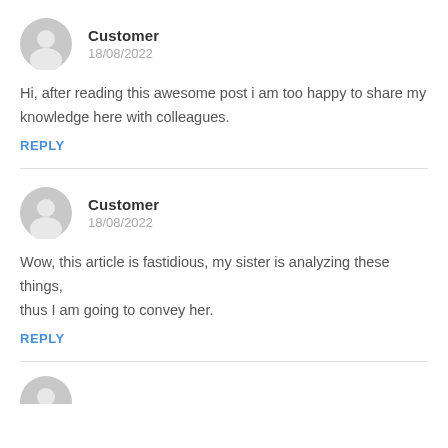[Figure (illustration): Gray circular user avatar icon with silhouette, first comment]
Customer
18/08/2022
Hi, after reading this awesome post i am too happy to share my knowledge here with colleagues.
REPLY
[Figure (illustration): Gray circular user avatar icon with silhouette, second comment]
Customer
18/08/2022
Wow, this article is fastidious, my sister is analyzing these things,
thus I am going to convey her.
REPLY
[Figure (illustration): Gray circular user avatar icon with silhouette, third comment (partial)]